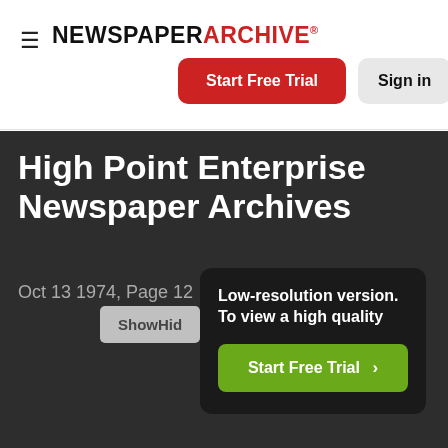NEWSPAPER ARCHIVE®
Start Free Trial
Sign in
High Point Enterprise Newspaper Archives
Oct 13 1974, Page 12
ShowHid
Low-resolution version. To view a high quality
Start Free Trial >